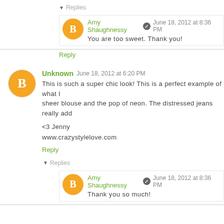▾ Replies
Amy Shaughnessy   June 18, 2012 at 8:36 PM
You are too sweet. Thank you!
Reply
Unknown  June 18, 2012 at 6:20 PM
This is such a super chic look! This is a perfect example of what I sheer blouse and the pop of neon. The distressed jeans really add

<3 Jenny
www.crazystylelove.com
Reply
▾ Replies
Amy Shaughnessy   June 18, 2012 at 8:36 PM
Thank you so much!